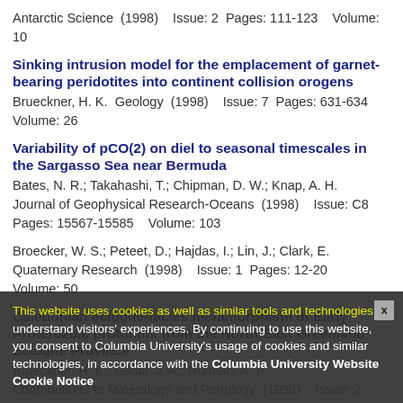Antarctic Science  (1998)    Issue: 2  Pages: 111-123    Volume: 10
Sinking intrusion model for the emplacement of garnet-bearing peridotites into continent collision orogens
Brueckner, H. K.  Geology  (1998)    Issue: 7  Pages: 631-634  Volume: 26
Variability of pCO(2) on diel to seasonal timescales in the Sargasso Sea near Bermuda
Bates, N. R.; Takahashi, T.; Chipman, D. W.; Knap, A. H.  Journal of Geophysical Research-Oceans  (1998)    Issue: C8  Pages: 15567-15585    Volume: 103
Broecker, W. S.; Peteet, D.; Hajdas, I.; Lin, J.; Clark, E.  Quaternary Research  (1998)    Issue: 1  Pages: 12-20  Volume: 50
Caledonian eclogite-facies metamorphism of Early Proterozoic protoliths from the North-East Greenland Eclogite Province
Brueckner, H. K.; Gilotti, J. A.; Nutman, A. P.  Contributions to Mineralogy and Petrology  (1998)    Issue: 2  Pages: 105-120    Volume: 130